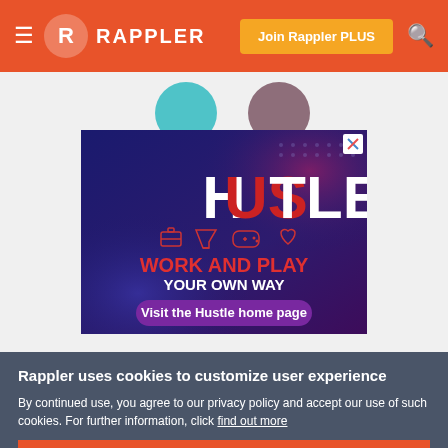RAPPLER — Join Rappler PLUS
[Figure (screenshot): Rappler website screenshot showing a HUSTLE advertisement with dark blue/purple background. Text reads 'HUSTLE' in large letters with US in red, followed by icons for work/play, 'WORK AND PLAY' in red bold text, 'YOUR OWN WAY' in white, and a purple button 'Visit the Hustle home page'. Colored circles (teal and mauve) visible at top of page content area.]
Rappler uses cookies to customize user experience
By continued use, you agree to our privacy policy and accept our use of such cookies. For further information, click find out more
I ACCEPT